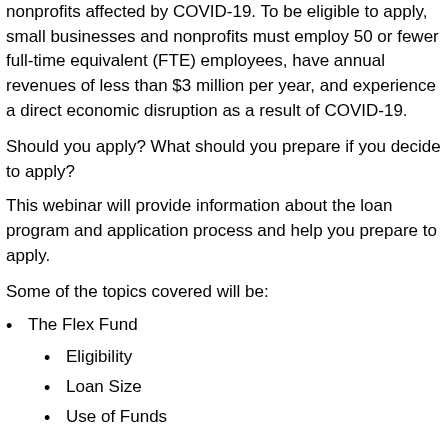nonprofits affected by COVID-19. To be eligible to apply, small businesses and nonprofits must employ 50 or fewer full-time equivalent (FTE) employees, have annual revenues of less than $3 million per year, and experience a direct economic disruption as a result of COVID-19.
Should you apply? What should you prepare if you decide to apply?
This webinar will provide information about the loan program and application process and help you prepare to apply.
Some of the topics covered will be:
The Flex Fund
Eligibility
Loan Size
Use of Funds